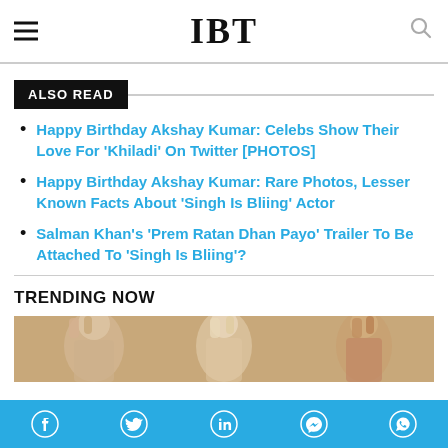IBT
ALSO READ
Happy Birthday Akshay Kumar: Celebs Show Their Love For 'Khiladi' On Twitter [PHOTOS]
Happy Birthday Akshay Kumar: Rare Photos, Lesser Known Facts About 'Singh Is Bliing' Actor
Salman Khan's 'Prem Ratan Dhan Payo' Trailer To Be Attached To 'Singh Is Bliing'?
TRENDING NOW
[Figure (photo): Photo of people with hands raised, trending news image]
[Figure (infographic): Social media share bar with Facebook, Twitter, LinkedIn, Messenger, WhatsApp icons on teal background]